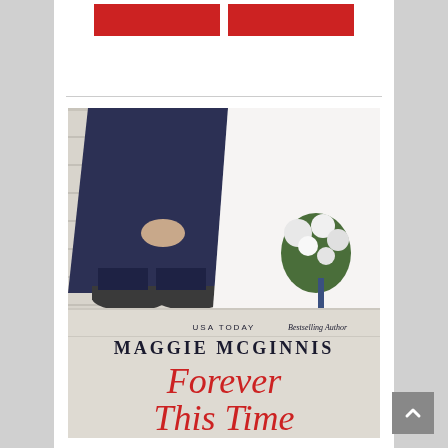[Figure (photo): Book cover for 'Forever This Time' by Maggie McGinnis (USA TODAY Bestselling Author). Shows a bride and groom sitting side by side on a white wooden bench/surface, cropped at torso level. The groom wears a dark navy suit with dark socks and oxford shoes, hands clasped. The bride wears a white tulle dress and holds a bouquet of white and blue flowers. The lower portion shows the author name and title text.]
USA TODAY Bestselling Author
MAGGIE MCGINNIS
Forever This Time